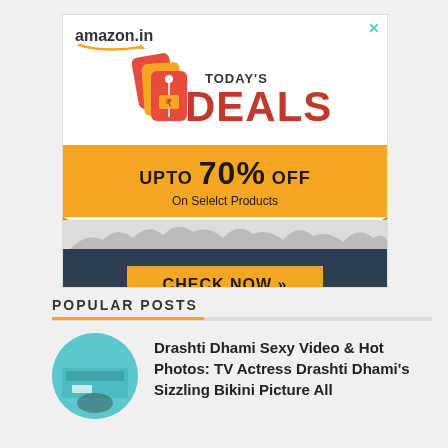[Figure (screenshot): Amazon.in advertisement banner showing 'TODAY'S DEALS - UPTO 70% OFF On Select Products - CHECK NOW' with orange ribbon design and crowd silhouette]
POPULAR POSTS
Drashti Dhami Sexy Video & Hot Photos: TV Actress Drashti Dhami's Sizzling Bikini Picture All